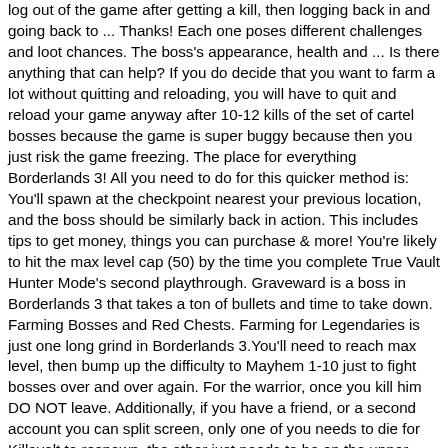log out of the game after getting a kill, then logging back in and going back to ... Thanks! Each one poses different challenges and loot chances. The boss's appearance, health and ... Is there anything that can help? If you do decide that you want to farm a lot without quitting and reloading, you will have to quit and reload your game anyway after 10-12 kills of the set of cartel bosses because the game is super buggy because then you just risk the game freezing. The place for everything Borderlands 3! All you need to do for this quicker method is: You'll spawn at the checkpoint nearest your previous location, and the boss should be similarly back in action. This includes tips to get money, things you can purchase & more! You're likely to hit the max level cap (50) by the time you complete True Vault Hunter Mode's second playthrough. Graveward is a boss in Borderlands 3 that takes a ton of bullets and time to take down. Farming Bosses and Red Chests. Farming for Legendaries is just one long grind in Borderlands 3.You'll need to reach max level, then bump up the difficulty to Mayhem 1-10 just to fight bosses over and over again. For the warrior, once you kill him DO NOT leave. Additionally, if you have a friend, or a second account you can split screen, only one of you needs to die for Killavolt to respawn, the other just needs to be on the upper floor, or at least outside the exit of his arena. Captain Traunt is one of the bosses that Borderlands 3 fans love to torture. Difficulty increases with each round, meaning more and tougher enemies, with the fifth round being the hardest of all. ; Fast Travel to Heath Review What Borderlands then follow the method —